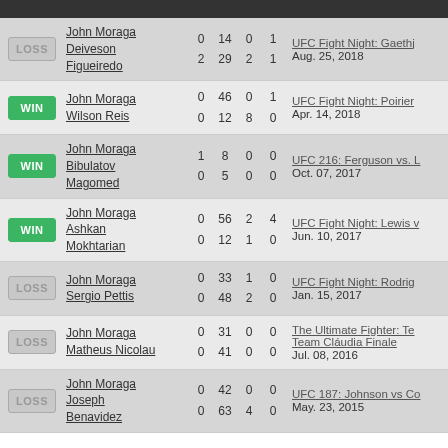| Result | Fighters | Col1 | Col2 | Col3 | Col4 | Event |
| --- | --- | --- | --- | --- | --- | --- |
| LOSS | John Moraga / Deiveson Figueiredo | 0/2 | 14/29 | 0/2 | 1/1 | UFC Fight Night: Gaethj... Aug. 25, 2018 |
| WIN | John Moraga / Wilson Reis | 0/0 | 46/12 | 0/8 | 1/0 | UFC Fight Night: Poirier... Apr. 14, 2018 |
| WIN | John Moraga / Bibulatov Magomed | 1/0 | 8/5 | 0/0 | 0/0 | UFC 216: Ferguson vs. L... Oct. 07, 2017 |
| WIN | John Moraga / Ashkan Mokhtarian | 0/0 | 56/12 | 2/1 | 4/0 | UFC Fight Night: Lewis v... Jun. 10, 2017 |
| LOSS | John Moraga / Sergio Pettis | 0/0 | 33/48 | 1/2 | 0/0 | UFC Fight Night: Rodrig... Jan. 15, 2017 |
| LOSS | John Moraga / Matheus Nicolau | 0/0 | 31/41 | 0/0 | 0/0 | The Ultimate Fighter: Team Cláudia Finale / Jul. 08, 2016 |
| LOSS | John Moraga / Joseph Benavidez | 0/0 | 42/63 | 0/4 | 0/0 | UFC 187: Johnson vs Co... May. 23, 2015 |